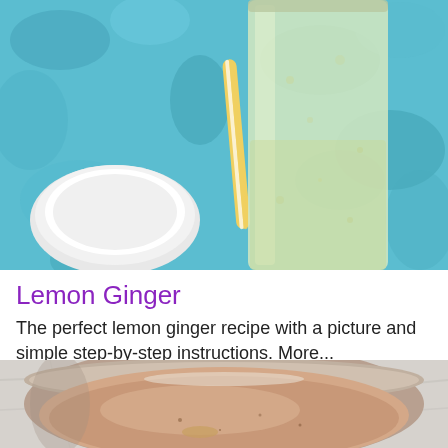[Figure (photo): A tall glass of pale yellow lemon ginger drink with bubbles, a yellow and white striped straw, and a small white bowl on a blue patterned surface]
Lemon Ginger
The perfect lemon ginger recipe with a picture and simple step-by-step instructions. More...
[Figure (photo): A metal bowl containing a pinkish-brown lemon ginger liquid on a marble surface, viewed from above]